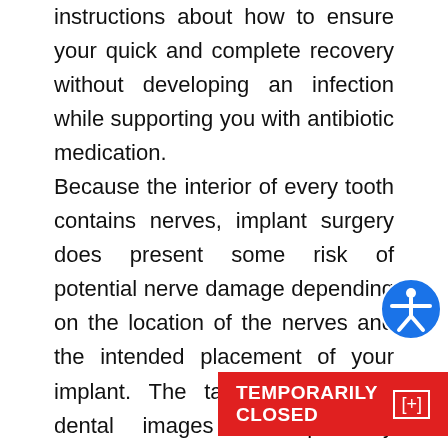instructions about how to ensure your quick and complete recovery without developing an infection while supporting you with antibiotic medication.
Because the interior of every tooth contains nerves, implant surgery does present some risk of potential nerve damage depending on the location of the nerves and the intended placement of your implant. The taking of detailed dental images and precisely measuring the location of all procedures... damage...
[Figure (other): Accessibility icon - blue circle with white figure of a person with arms outstretched]
TEMPORARILY CLOSED [+]